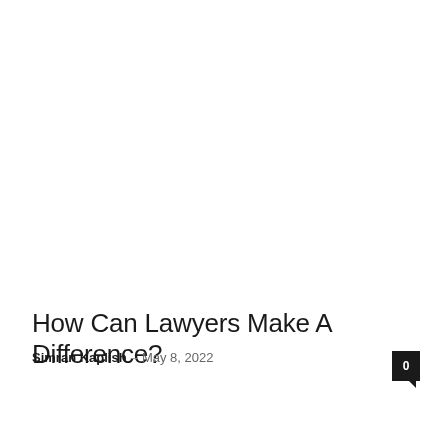How Can Lawyers Make A Difference?
Simran Kaplish – May 8, 2022